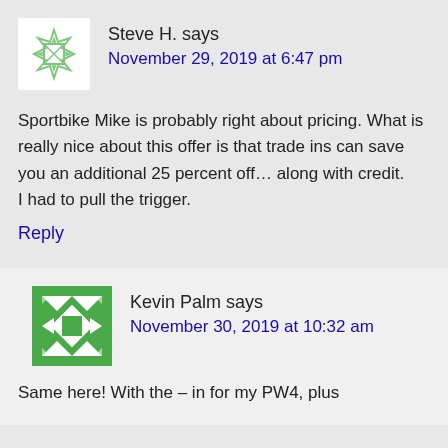Steve H. says
November 29, 2019 at 6:47 pm
Sportbike Mike is probably right about pricing. What is really nice about this offer is that trade ins can save you an additional 25 percent off… along with credit.
I had to pull the trigger.
Reply
Kevin Palm says
November 30, 2019 at 10:32 am
Same here! With the – in for my PW4, plus